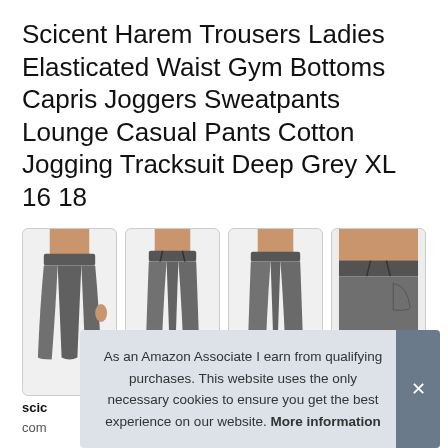Scicent Harem Trousers Ladies Elasticated Waist Gym Bottoms Capris Joggers Sweatpants Lounge Casual Pants Cotton Jogging Tracksuit Deep Grey XL 16 18
[Figure (photo): Four product photos showing grey jogging/harem trousers from different angles worn by a model]
As an Amazon Associate I earn from qualifying purchases. This website uses the only necessary cookies to ensure you get the best experience on our website. More information
scic
com